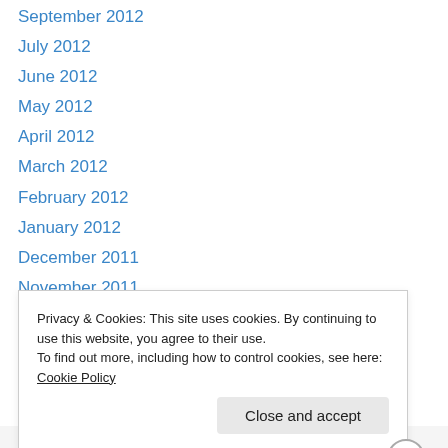September 2012
July 2012
June 2012
May 2012
April 2012
March 2012
February 2012
January 2012
December 2011
November 2011
October 2011
September 2011
August 2011
July 2011
Privacy & Cookies: This site uses cookies. By continuing to use this website, you agree to their use. To find out more, including how to control cookies, see here: Cookie Policy
Close and accept